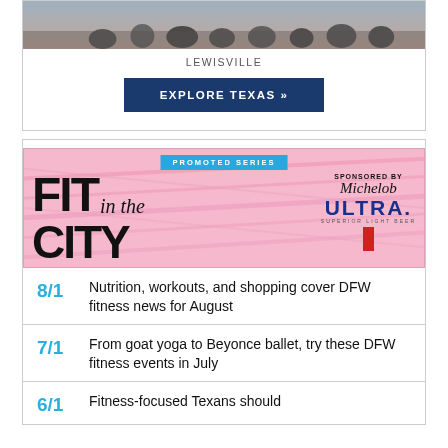[Figure (photo): Outdoor crowd photo, Lewisville]
LEWISVILLE
EXPLORE TEXAS »
[Figure (illustration): Fit in the City promoted series banner sponsored by Michelob ULTRA]
8/1  Nutrition, workouts, and shopping cover DFW fitness news for August
7/1  From goat yoga to Beyonce ballet, try these DFW fitness events in July
6/1  Fitness-focused Texans should